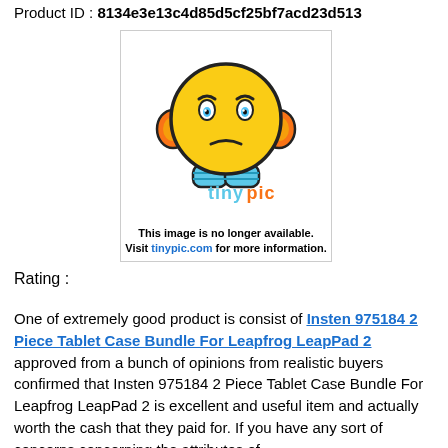Product ID : 8134e3e13c4d85d5cf25bf7acd23d513
[Figure (illustration): Tinypic placeholder image showing a sad emoticon with headphones and the text 'This image is no longer available. Visit tinypic.com for more information.']
Rating :
One of extremely good product is consist of Insten 975184 2 Piece Tablet Case Bundle For Leapfrog LeapPad 2 approved from a bunch of opinions from realistic buyers confirmed that Insten 975184 2 Piece Tablet Case Bundle For Leapfrog LeapPad 2 is excellent and useful item and actually worth the cash that they paid for. If you have any sort of concerns concerning the attributes of